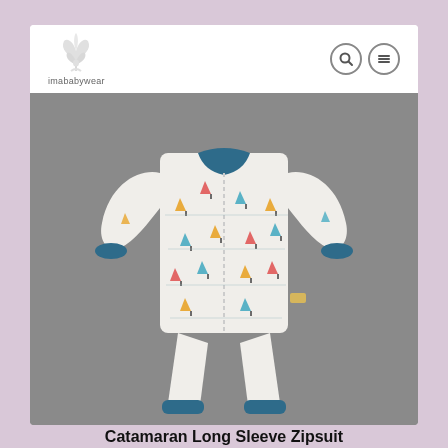[Figure (logo): imababywear logo with plant/leaf icon above the text]
[Figure (photo): Baby zipsuit romper with long sleeves, white fabric with sailboat print pattern, blue ribbed collar and cuffs, front zip closure, displayed against a grey background]
Catamaran Long Sleeve Zipsuit